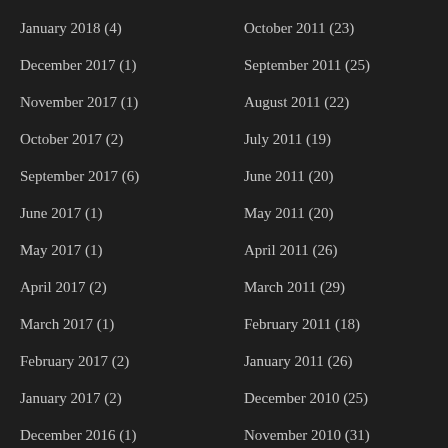January 2018 (4)
October 2011 (23)
December 2017 (1)
September 2011 (25)
November 2017 (1)
August 2011 (22)
October 2017 (2)
July 2011 (19)
September 2017 (6)
June 2011 (20)
June 2017 (1)
May 2011 (20)
May 2017 (1)
April 2011 (26)
April 2017 (2)
March 2011 (29)
March 2017 (1)
February 2011 (18)
February 2017 (2)
January 2011 (26)
January 2017 (2)
December 2010 (25)
December 2016 (1)
November 2010 (31)